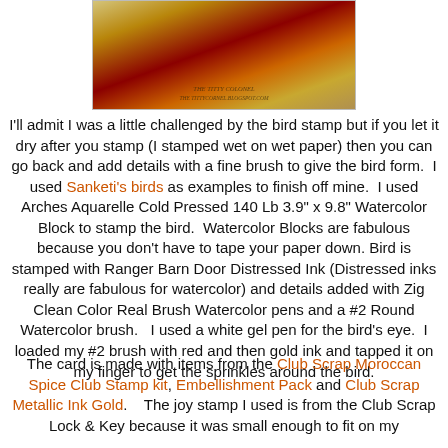[Figure (photo): Photo of a decorative bird card with Moroccan/golden pattern background, displayed in a bordered frame with a watermark at the bottom.]
I'll admit I was a little challenged by the bird stamp but if you let it dry after you stamp (I stamped wet on wet paper) then you can go back and add details with a fine brush to give the bird form.  I used Sanketi's birds as examples to finish off mine.  I used Arches Aquarelle Cold Pressed 140 Lb 3.9" x 9.8" Watercolor Block to stamp the bird.  Watercolor Blocks are fabulous because you don't have to tape your paper down. Bird is stamped with Ranger Barn Door Distressed Ink (Distressed inks really are fabulous for watercolor) and details added with Zig Clean Color Real Brush Watercolor pens and a #2 Round Watercolor brush.   I used a white gel pen for the bird's eye.  I loaded my #2 brush with red and then gold ink and tapped it on my finger to get the sprinkles around the bird.
The card is made with items from the Club Scrap Moroccan Spice Club Stamp kit, Embellishment Pack and Club Scrap Metallic Ink Gold.    The joy stamp I used is from the Club Scrap Lock & Key because it was small enough to fit on my